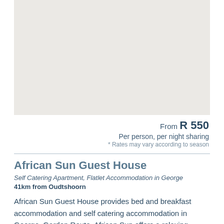[Figure (photo): Placeholder image area for African Sun Guest House photo]
From R 550
Per person, per night sharing
* Rates may vary according to season
African Sun Guest House
Self Catering Apartment, Flatlet Accommodation in George
41km from Oudtshoorn
African Sun Guest House provides bed and breakfast accommodation and self catering accommodation in George, Garden Route. African Sun offers a relaxing atmosphere and a beautiful view of the Outeniqua mountains, it is a small holding where guests can walk